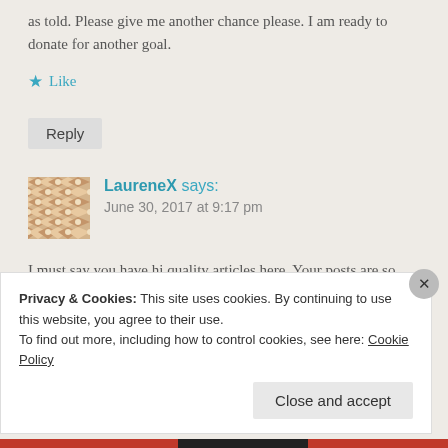as told. Please give me another chance please. I am ready to donate for another goal.
★ Like
Reply
LaureneX says:
June 30, 2017 at 9:17 pm
I must say you have hi quality articles here. Your posts are so viral
Privacy & Cookies: This site uses cookies. By continuing to use this website, you agree to their use.
To find out more, including how to control cookies, see here: Cookie Policy
Close and accept